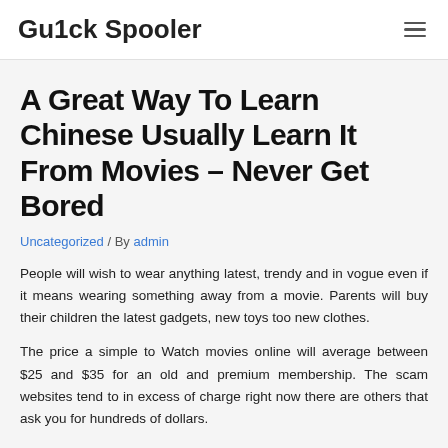Gu1ck Spooler
A Great Way To Learn Chinese Usually Learn It From Movies – Never Get Bored
Uncategorized / By admin
People will wish to wear anything latest, trendy and in vogue even if it means wearing something away from a movie. Parents will buy their children the latest gadgets, new toys too new clothes.
The price a simple to Watch movies online will average between $25 and $35 for an old and premium membership. The scam websites tend to in excess of charge right now there are others that ask you for hundreds of dollars.